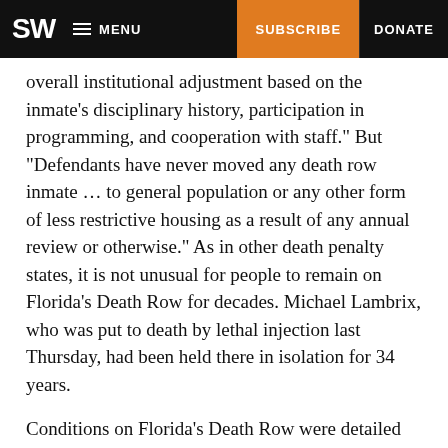SW  MENU  SUBSCRIBE  DONATE
overall institutional adjustment based on the inmate’s disciplinary history, participation in programming, and cooperation with staff.” But “Defendants have never moved any death row inmate … to general population or any other form of less restrictive housing as a result of any annual review or otherwise.” As in other death penalty states, it is not unusual for people to remain on Florida’s Death Row for decades. Michael Lambrix, who was put to death by lethal injection last Thursday, had been held there in isolation for 34 years.
Conditions on Florida’s Death Row were detailed by William Van Poyck—who spent